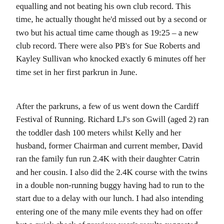equalling and not beating his own club record. This time, he actually thought he'd missed out by a second or two but his actual time came though as 19:25 – a new club record. There were also PB's for Sue Roberts and Kayley Sullivan who knocked exactly 6 minutes off her time set in her first parkrun in June.
After the parkruns, a few of us went down the Cardiff Festival of Running. Richard LJ's son Gwill (aged 2) ran the toddler dash 100 meters whilst Kelly and her husband, former Chairman and current member, David ran the family fun run 2.4K with their daughter Catrin and her cousin. I also did the 2.4K course with the twins in a double non-running buggy having had to run to the start due to a delay with our lunch. I had also intending entering one of the many mile events they had on offer but a quick check of previous year's results suggested they were